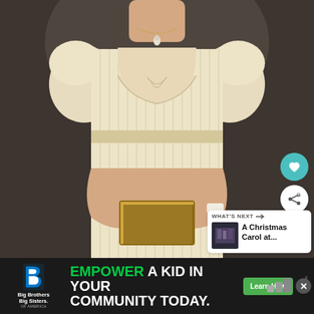[Figure (photo): Close-up photo of a woman wearing a cream/ivory Regency-era striped dress with puffed sleeves, a square neckline, and a pearl pendant necklace. She is holding a small gold-edged book in both hands. The background is dark/blurred.]
[Figure (screenshot): UI overlay on photo showing a teal heart (favourite) button and a white share button on the right side of the image]
WHAT'S NEXT → A Christmas Carol at...
EMPOWER A KID IN YOUR COMMUNITY TODAY.
Learn How
[Figure (logo): Big Brothers Big Sisters of America logo — stylized B letter mark in blue/teal with text 'Big Brothers Big Sisters of America']